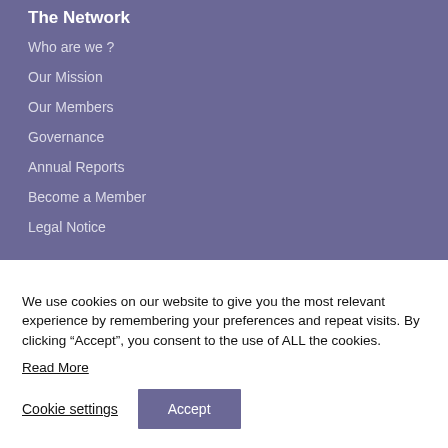The Network
Who are we ?
Our Mission
Our Members
Governance
Annual Reports
Become a Member
Legal Notice
We use cookies on our website to give you the most relevant experience by remembering your preferences and repeat visits. By clicking “Accept”, you consent to the use of ALL the cookies.
Read More
Cookie settings
Accept